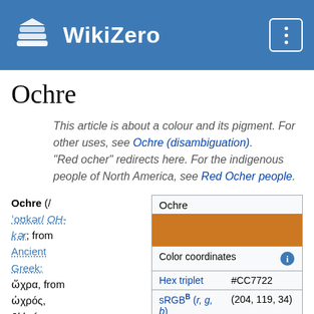WikiZero
Ochre
This article is about a colour and its pigment. For other uses, see Ochre (disambiguation). "Red ocher" redirects here. For the indigenous people of North America, see Red Ocher people.
| Ochre |  |
| --- | --- |
| [color swatch] |  |
| Color coordinates | ℹ |
| Hex triplet | #CC7722 |
| sRGB^B (r, g, b) | (204, 119, 34) |
| HSV (h, s, v) | (30°, 83%, 80%) |
Ochre (/ˈoʊkər/ OH-kər; from Ancient Greek: ὤχρα, from ὠχρός, ōkhrós,